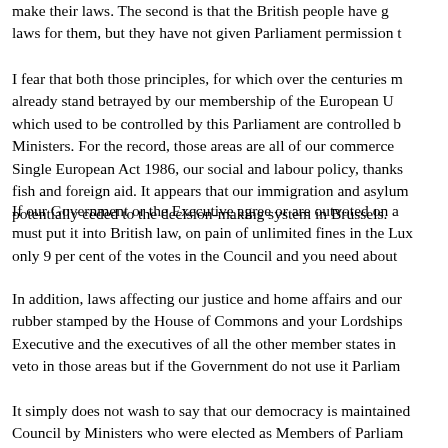make their laws. The second is that the British people have given laws for them, but they have not given Parliament permission t
I fear that both those principles, for which over the centuries m already stand betrayed by our membership of the European U which used to be controlled by this Parliament are controlled b Ministers. For the record, those areas are all of our commerce Single European Act 1986, our social and labour policy, thanks fish and foreign aid. It appears that our immigration and asylum potentially ceded to the decision-making system in Brussels.
If our Government or the Executive agree or are outvoted on a must put it into British law, on pain of unlimited fines in the Lux only 9 per cent of the votes in the Council and you need about
In addition, laws affecting our justice and home affairs and our rubber stamped by the House of Commons and your Lordships Executive and the executives of all the other member states in veto in those areas but if the Government do not use it Parliam
It simply does not wash to say that our democracy is maintained Council by Ministers who were elected as Members of Parliament